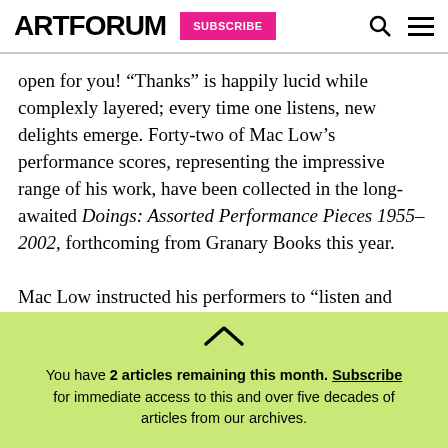ARTFORUM | SUBSCRIBE
open for you! “Thanks” is happily lucid while complexly layered; every time one listens, new delights emerge. Forty-two of Mac Low’s performance scores, representing the impressive range of his work, have been collected in the long-awaited Doings: Assorted Performance Pieces 1955–2002, forthcoming from Granary Books this year.

Mac Low instructed his performers to “listen and relate.” Tardos intends to have this inscribed on the
You have 2 articles remaining this month. Subscribe for immediate access to this and over five decades of articles from our archives.